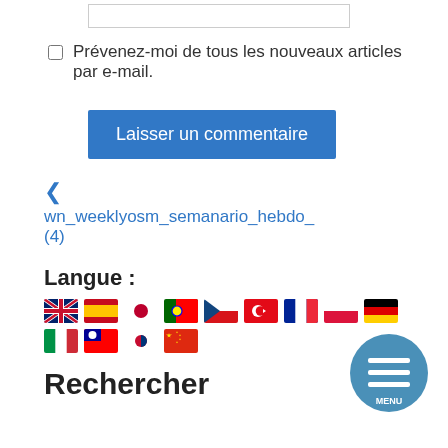Prévenez-moi de tous les nouveaux articles par e-mail.
Laisser un commentaire
< wn_weeklyosm_semanario_hebdo_(4)
Langue :
[Figure (other): Row of country flag icons: UK, Spain, Japan, Portugal, Czech, Turkey, France, Poland, Germany, Italy, Taiwan, South Korea, China]
Rechercher